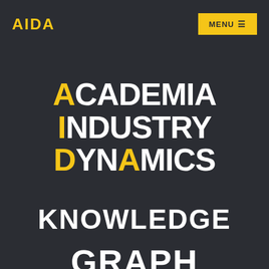AIDA | MENU
ACADEMIA INDUSTRY DYNAMICS
KNOWLEDGE
GRAPH